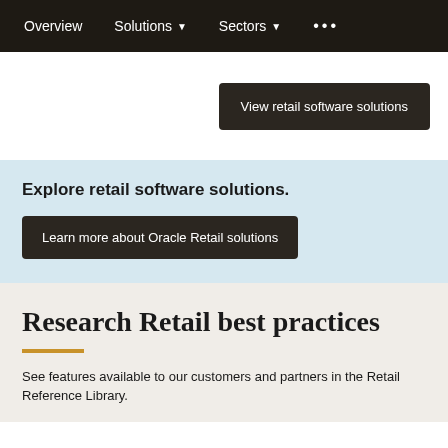Overview   Solutions   Sectors   ...
View retail software solutions
Explore retail software solutions.
Learn more about Oracle Retail solutions
Research Retail best practices
See features available to our customers and partners in the Retail Reference Library.